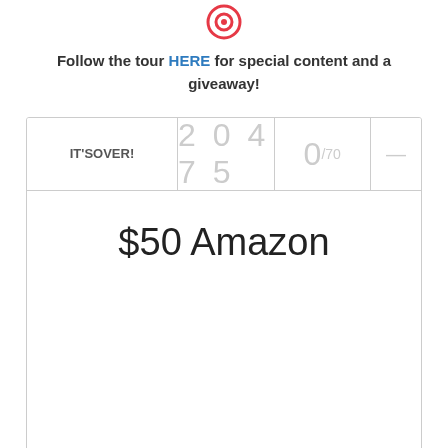[Figure (logo): Red circular logo/icon at the top center of the page]
Follow the tour HERE for special content and a giveaway!
[Figure (infographic): Giveaway widget with header row showing: IT'S OVER! label, number 20475, score 0/70, and dash. Body shows prize text '$50 Amazon']